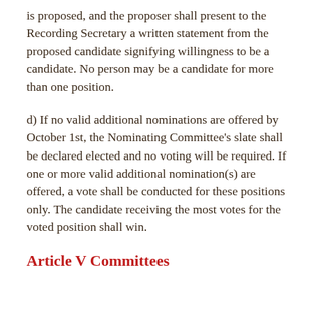is proposed, and the proposer shall present to the Recording Secretary a written statement from the proposed candidate signifying willingness to be a candidate. No person may be a candidate for more than one position.
d) If no valid additional nominations are offered by October 1st, the Nominating Committee's slate shall be declared elected and no voting will be required. If one or more valid additional nomination(s) are offered, a vote shall be conducted for these positions only. The candidate receiving the most votes for the voted position shall win.
Article V Committees